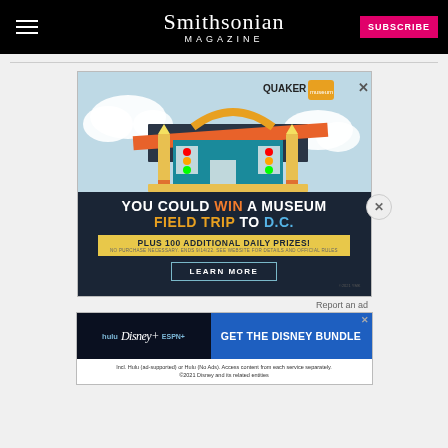Smithsonian MAGAZINE | SUBSCRIBE
[Figure (illustration): Quaker Museum Day advertisement showing a cartoon school building made of pencils and rulers, with text: YOU COULD WIN A MUSEUM FIELD TRIP TO D.C. PLUS 100 ADDITIONAL DAILY PRIZES! LEARN MORE]
Report an ad
[Figure (illustration): Disney Bundle advertisement with Hulu, Disney+, ESPN+ logos and GET THE DISNEY BUNDLE call to action. Fine print: Incl. Hulu (ad-supported) or Hulu (No Ads). Access content from each service separately. ©2021 Disney and its related entities]